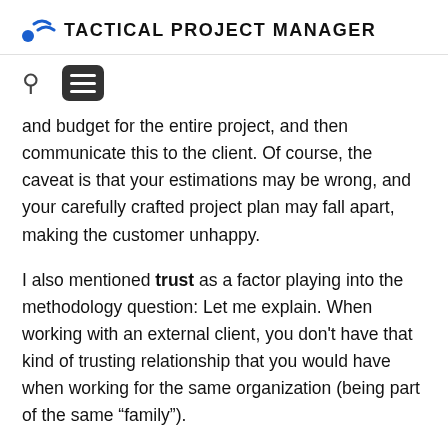TACTICAL PROJECT MANAGER
and budget for the entire project, and then communicate this to the client. Of course, the caveat is that your estimations may be wrong, and your carefully crafted project plan may fall apart, making the customer unhappy.
I also mentioned trust as a factor playing into the methodology question: Let me explain. When working with an external client, you don't have that kind of trusting relationship that you would have when working for the same organization (being part of the same “family”).